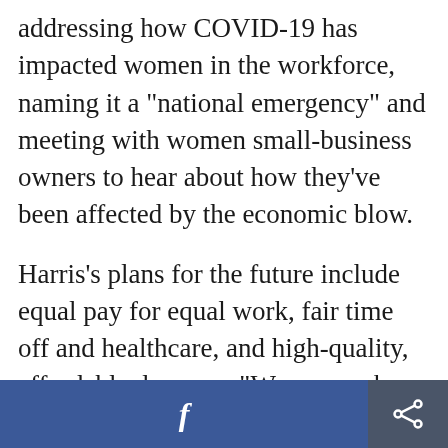addressing how COVID-19 has impacted women in the workforce, naming it a "national emergency" and meeting with women small-business owners to hear about how they've been affected by the economic blow.
Harris's plans for the future include equal pay for equal work, fair time off and healthcare, and high-quality, affordable day care. "Women make the world work, and in this future, the world will work for women," Harris said. "And when it does, we will all be safer, stronger, and more prosperous."
f [share]